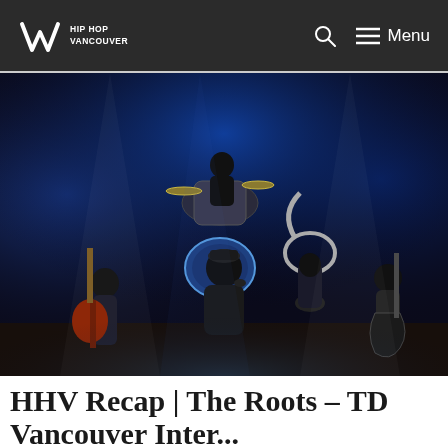HIP HOP VANCOUVER — Menu
[Figure (photo): Concert photo of The Roots performing on stage with blue lighting. A rapper in a black jacket and cap is at the center microphone, surrounded by band members playing electric guitar, tuba/sousaphone, and drums in the background.]
HHV Recap | The Roots – TD Vancouver International...